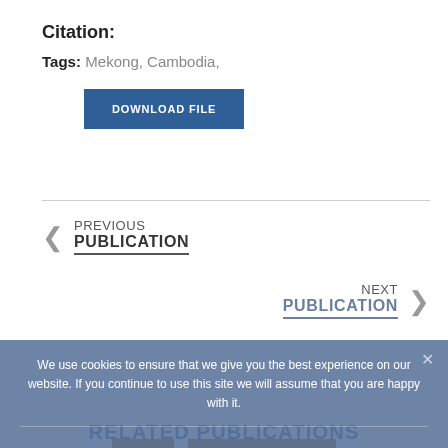Citation:
Tags: Mekong, Cambodia,
DOWNLOAD FILE
< PREVIOUS PUBLICATION
NEXT PUBLICATION >
We use cookies to ensure that we give you the best experience on our website. If you continue to use this site we will assume that you are happy with it.
OK
PRIVACY POLICY
RELATED PUBLICATIONS